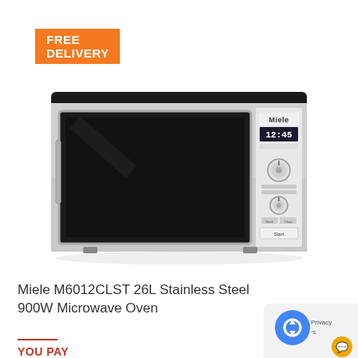[Figure (other): Orange banner with text FREE DELIVERY]
[Figure (photo): Miele M6012CLST 26L Stainless Steel 900W Microwave Oven product photo on white background, showing stainless steel body with black glass door and control panel on the right side with Miele branding and digital display showing 12:45]
Miele M6012CLST 26L Stainless Steel 900W Microwave Oven
YOU PAY